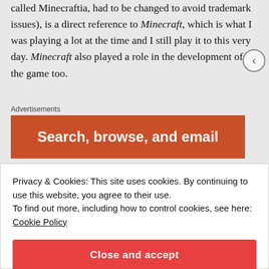The name Mcraft (was originally going to be called Minecraftia, had to be changed to avoid trademark issues), is a direct reference to Minecraft, which is what I was playing a lot at the time and I still play it to this very day. Minecraft also played a role in the development of the game too.
Advertisements
[Figure (other): Orange advertisement banner with text 'Search, browse, and email']
Privacy & Cookies: This site uses cookies. By continuing to use this website, you agree to their use.
To find out more, including how to control cookies, see here:
Cookie Policy
Close and accept